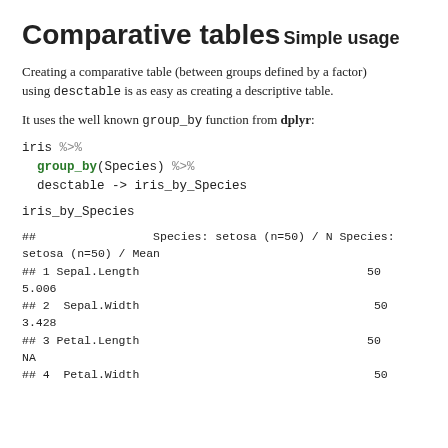Comparative tables
Simple usage
Creating a comparative table (between groups defined by a factor) using desctable is as easy as creating a descriptive table.
It uses the well known group_by function from dplyr:
iris %>%
  group_by(Species) %>%
  desctable -> iris_by_Species
iris_by_Species
##                 Species: setosa (n=50) / N Species: setosa (n=50) / Mean
## 1 Sepal.Length                                 50
5.006
## 2  Sepal.Width                                  50
3.428
## 3 Petal.Length                                 50
NA
## 4  Petal.Width                                  50